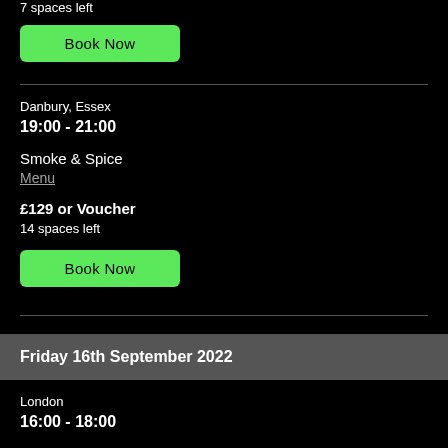7 spaces left
Book Now
Danbury, Essex
19:00 - 21:00
Smoke & Spice
Menu
£129 or Voucher
14 spaces left
Book Now
Friday 16th September 2022
London
16:00 - 18:00